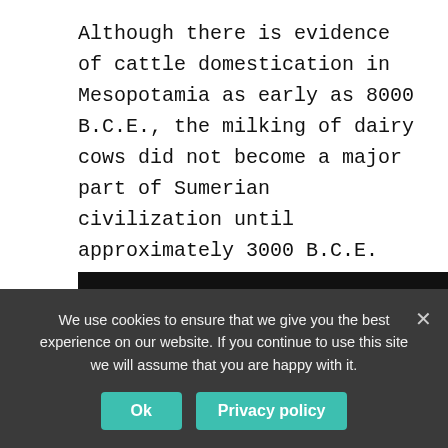Although there is evidence of cattle domestication in Mesopotamia as early as 8000 B.C.E., the milking of dairy cows did not become a major part of Sumerian civilization until approximately 3000 B.C.E. Archaelogical evidence shows that the Ancient Sumerians drank cow's milk and also made cow's milk into cheeses and butters.
[Figure (screenshot): YouTube video bar showing a colorful avatar icon on the left, with the title 'The dude who discovered milk ...' in white text on dark background, and a vertical three-dot menu icon on the right.]
We use cookies to ensure that we give you the best experience on our website. If you continue to use this site we will assume that you are happy with it.